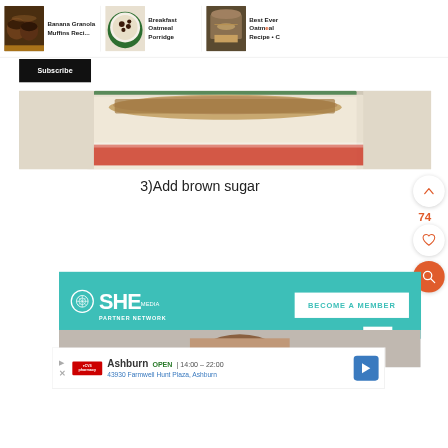[Figure (screenshot): Website screenshot showing carousel navigation with food recipe thumbnails: Banana Granola Muffins Recipe, Breakfast Oatmeal Porridge, Best Ever Oatmeal Recipe. Subscribe button below. Main food photo of jar with oatmeal. Step instruction '3)Add brown sugar'. Social interaction buttons (up arrow, heart with 74 count, search). SHE Media Partner Network banner. CVS advertisement bar at bottom.]
Banana Granola Muffins Reci...
Breakfast Oatmeal Porridge
Best Ever Oatmeal Recipe • C
Subscribe
3)Add brown sugar
74
BECOME A MEMBER
SHE MEDIA PARTNER NETWORK
Ashburn OPEN | 14:00 - 22:00
43930 Farmwell Hunt Plaza, Ashburn